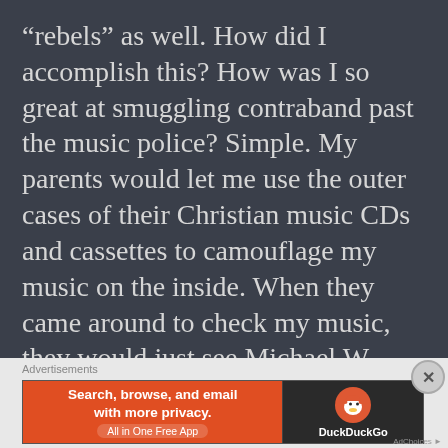“rebels” as well. How did I accomplish this? How was I so great at smuggling contraband past the music police? Simple. My parents would let me use the outer cases of their Christian music CDs and cassettes to camouflage my music on the inside. When they came around to check my music, they would just see Michael W. Smith, Carmen, and of course Amy Grant… Never knowing that inside was Nirvana, Pearl Jam, and The Doors. Well, ok… Some of the Amy Grant cases actually had the Amy Grant cassettes in them.
[Figure (other): DuckDuckGo advertisement banner: orange left panel with text 'Search, browse, and email with more privacy. All in One Free App' and dark right panel with DuckDuckGo duck logo and brand name.]